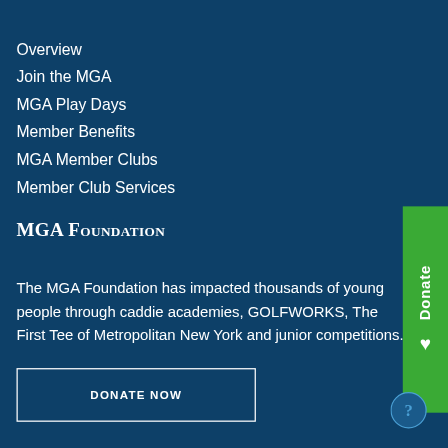Overview
Join the MGA
MGA Play Days
Member Benefits
MGA Member Clubs
Member Club Services
MGA Foundation
The MGA Foundation has impacted thousands of young people through caddie academies, GOLFWORKS, The First Tee of Metropolitan New York and junior competitions.
DONATE NOW